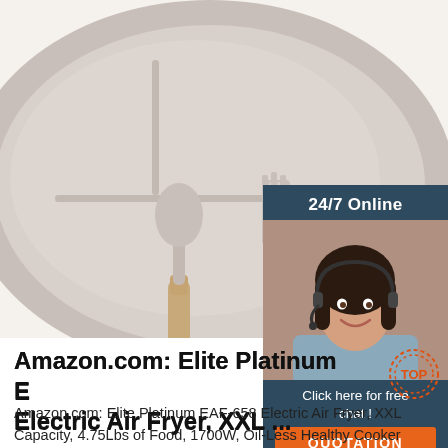[Figure (photo): Silicone divided plate/bowl in beige/mauve color with a spoon and fork with wooden handles, on white background. A 24/7 online chat widget overlaps the top-right corner showing a customer service agent with headset, text '24/7 Online', 'Click here for free chat!', and an orange QUOTATION button.]
Amazon.com: Elite Platinum E… Electric Air Fryer, XXL ...
Amazon.com: Elite Platinum EAF-658 Electric Air Fryer, XXL Capacity, 4.75Lbs of Food, 1700W, Oil-Less Healthy Cooker Timer & Temperature Controls, 26 Recipe Cookbook, PFOA/PTFE Free, …